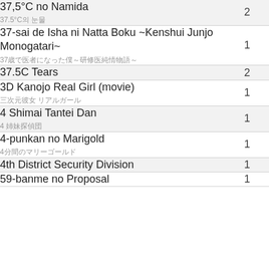| Title | Count |
| --- | --- |
| 37,5°C no Namida
37.5°C의 눈물 | 2 |
| 37-sai de Isha ni Natta Boku ~Kenshui Junjo Monogatari~
37歳で医者になった僕～研修医純情物語～ | 1 |
| 37.5C Tears | 2 |
| 3D Kanojo Real Girl (movie)
三次元彼女 リアルガール | 1 |
| 4 Shimai Tantei Dan
4 姉妹探偵団 | 1 |
| 4-punkan no Marigold
4分間のマリーゴールド | 1 |
| 4th District Security Division | 1 |
| 59-banme no Proposal | 1 |